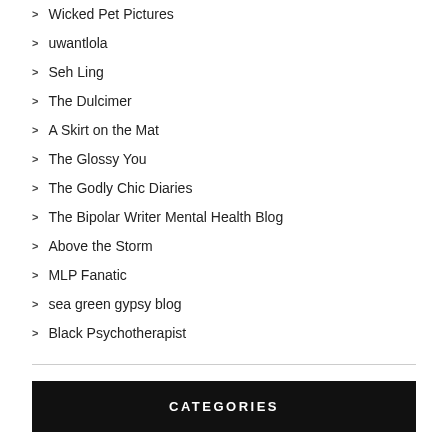Wicked Pet Pictures
uwantlola
Seh Ling
The Dulcimer
A Skirt on the Mat
The Glossy You
The Godly Chic Diaries
The Bipolar Writer Mental Health Blog
Above the Storm
MLP Fanatic
sea green gypsy blog
Black Psychotherapist
CATEGORIES
Abnormal Psychology
Grief Counseling
Popular Psychology
Taking Control of Your Life